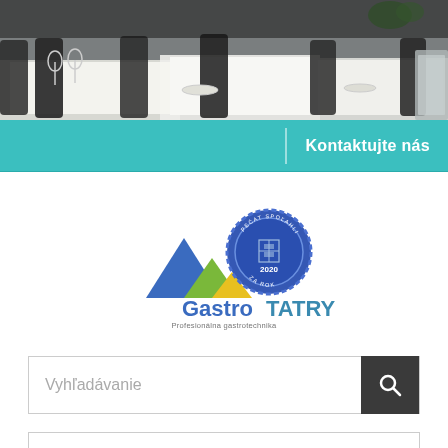[Figure (photo): Restaurant interior photo showing white tablecloths, black chairs, wine glasses and table settings]
Kontaktujte nás
[Figure (logo): GastroTATRY logo with mountain triangles and blue wax seal stamp reading 'PEČAT SPOĽAHLIVOSTI ZA ROK 2020'. Subtitle: Profesionálna gastrotechnika]
Vyhľadávanie
MENU